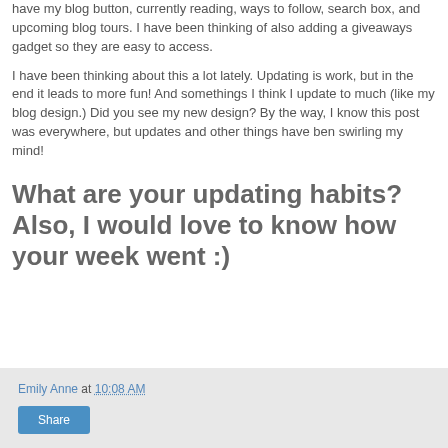have my blog button, currently reading, ways to follow, search box, and upcoming blog tours. I have been thinking of also adding a giveaways gadget so they are easy to access.
I have been thinking about this a lot lately. Updating is work, but in the end it leads to more fun! And somethings I think I update to much (like my blog design.) Did you see my new design? By the way, I know this post was everywhere, but updates and other things have ben swirling my mind!
What are your updating habits? Also, I would love to know how your week went :)
Emily Anne at 10:08 AM  Share